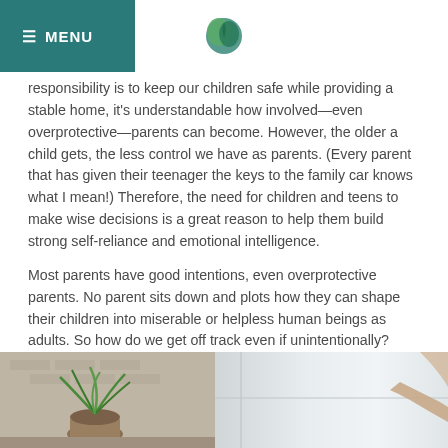≡ MENU
responsibility is to keep our children safe while providing a stable home, it's understandable how involved—even overprotective—parents can become. However, the older a child gets, the less control we have as parents. (Every parent that has given their teenager the keys to the family car knows what I mean!) Therefore, the need for children and teens to make wise decisions is a great reason to help them build strong self-reliance and emotional intelligence.
Most parents have good intentions, even overprotective parents. No parent sits down and plots how they can shape their children into miserable or helpless human beings as adults. So how do we get off track even if unintentionally?
[Figure (photo): Split photo: left side shows an indoor potted plant (spider plant) in a basket on a wooden surface, right side shows a bright window with light streaming in and a person's arm visible]